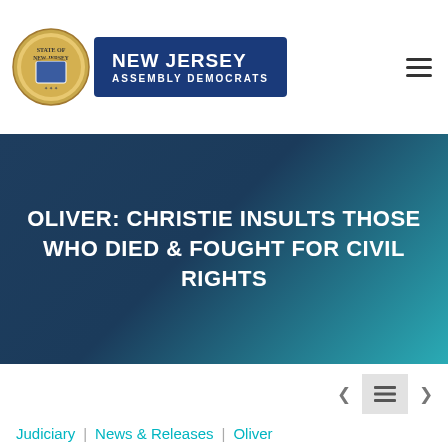NEW JERSEY ASSEMBLY DEMOCRATS
OLIVER: CHRISTIE INSULTS THOSE WHO DIED & FOUGHT FOR CIVIL RIGHTS
Judiciary | News & Releases | Oliver